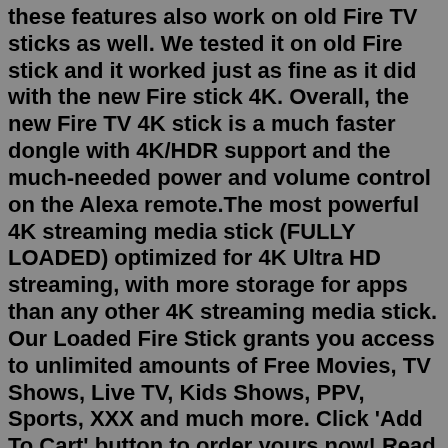these features also work on old Fire TV sticks as well. We tested it on old Fire stick and it worked just as fine as it did with the new Fire stick 4K. Overall, the new Fire TV 4K stick is a much faster dongle with 4K/HDR support and the much-needed power and volume control on the Alexa remote.The most powerful 4K streaming media stick (FULLY LOADED) optimized for 4K Ultra HD streaming, with more storage for apps than any other 4K streaming media stick. Our Loaded Fire Stick grants you access to unlimited amounts of Free Movies, TV Shows, Live TV, Kids Shows, PPV, Sports, XXX and much more. Click 'Add To Cart' button to order yours now! Read reviews and buy Amazon Fire TV Stick with 4K Ultra HD Streaming Media Player and Alexa Voice Remote (2nd Generation) at Target. Choose from Same Day Delivery, Drive Up or Order Pickup. Free standard shipping with $35 orders. Expect More. Pay Less.Dec 16, 2021 · EW put Amazon's new 2021 Fire TV Stick 4K Max to the test and found it great for fast streaming, voice activation,